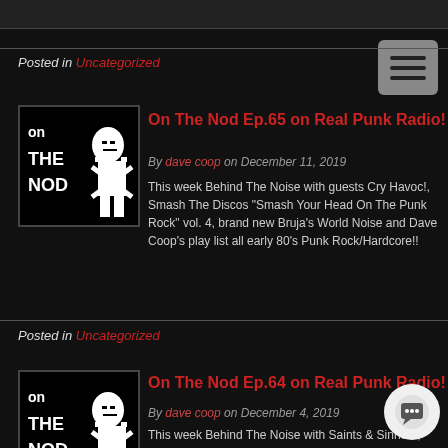Posted in Uncategorized
On The Nod Ep.65 on Real Punk Radio!
By dave coop on December 11, 2019
This week Behind The Noise with guests Cry Havoc!, Smash The Discos "Smash Your Head On The Punk Rock" vol. 4, brand new Bruja's World Noise and Dave Coop's play list all early 80's Punk Rock/Hardcore!!
[Figure (logo): On The Nod podcast logo — black square with white text and illustrated figure]
Posted in Uncategorized
On The Nod Ep.64 on Real Punk Radio!
By dave coop on December 4, 2019
This week Behind The Noise with Saints & Sinners, Smash The Discos "Smash Your Head On The Punk Rock" Bruja's World Noise, plus music by Mass Arrest, Mob Mentality, The Chiefs, Race Riot 59, Down 4 Life and...
[Figure (logo): On The Nod podcast logo — black square with white text and illustrated figure]